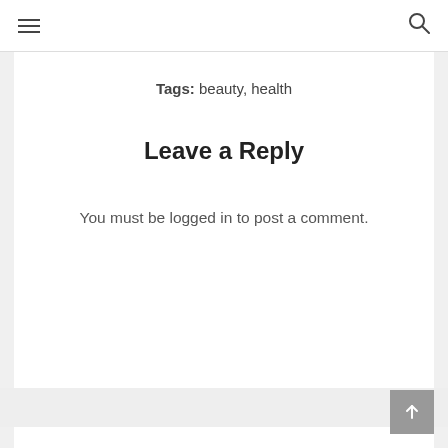Tags: beauty, health
Leave a Reply
You must be logged in to post a comment.